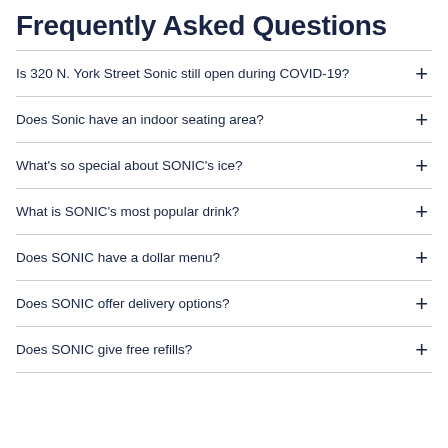Frequently Asked Questions
Is 320 N. York Street Sonic still open during COVID-19?
Does Sonic have an indoor seating area?
What's so special about SONIC's ice?
What is SONIC's most popular drink?
Does SONIC have a dollar menu?
Does SONIC offer delivery options?
Does SONIC give free refills?